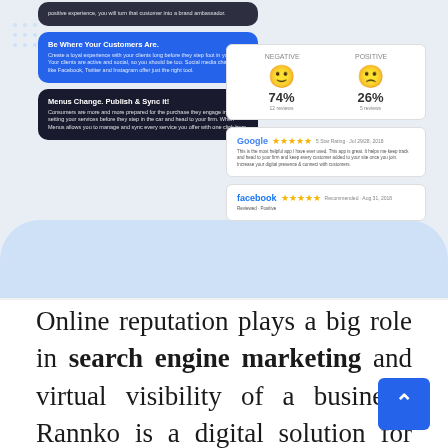[Figure (screenshot): Screenshot mockup showing a mobile app interface with dark and blue cards (Be Where Your Customers Are, Menus Change Publish & Sync It!) on the left, and review/reputation panels on the right showing sentiment scores (74% positive, 26% negative) and Google/Facebook star reviews.]
Online reputation plays a big role in search engine marketing and virtual visibility of a business. Rannko is a digital solution for Online Reputation Management. This review and reputation software builds on customer experience and aggregates your social media, reputation/reviews, and presence into one single platform. Moreover, Rannko has many happy users for the fact it is easy to use. Hence, this little investment can